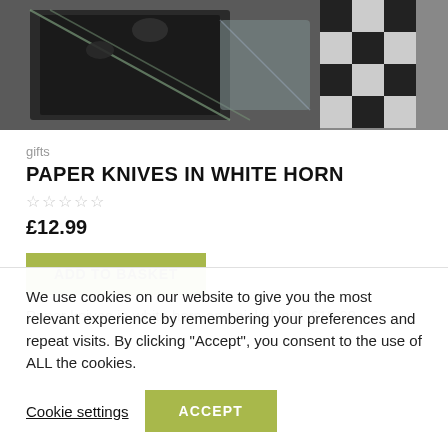[Figure (photo): Product photo showing paper knives with black/dark handles on a reflective surface with decorative black and white checkered elements]
gifts
PAPER KNIVES IN WHITE HORN
★★★★★ (empty star rating)
£12.99
ADD TO BASKET
Paper knives in white horn and nickel leaf, £12.99
We use cookies on our website to give you the most relevant experience by remembering your preferences and repeat visits. By clicking "Accept", you consent to the use of ALL the cookies.
Cookie settings
ACCEPT